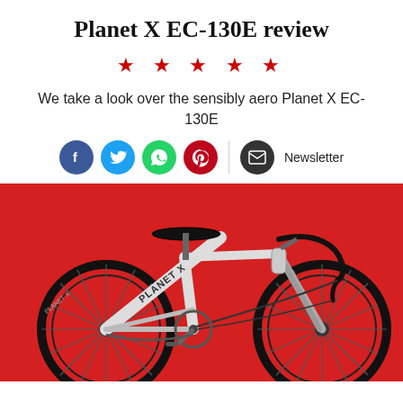Planet X EC-130E review
★ ★ ★ ★ ★
We take a look over the sensibly aero Planet X EC-130E
[Figure (infographic): Social share buttons: Facebook, Twitter, WhatsApp, Pinterest, and Newsletter email icon]
[Figure (photo): Planet X EC-130E road bike in white with black components on a red background]